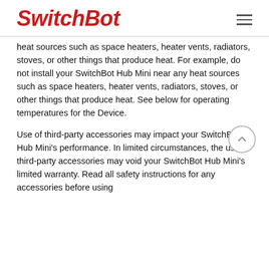SwitchBot
heat sources such as space heaters, heater vents, radiators, stoves, or other things that produce heat. For example, do not install your SwitchBot Hub Mini near any heat sources such as space heaters, heater vents, radiators, stoves, or other things that produce heat. See below for operating temperatures for the Device.
Use of third-party accessories may impact your SwitchBot Hub Mini's performance. In limited circumstances, the use of third-party accessories may void your SwitchBot Hub Mini's limited warranty. Read all safety instructions for any accessories before using